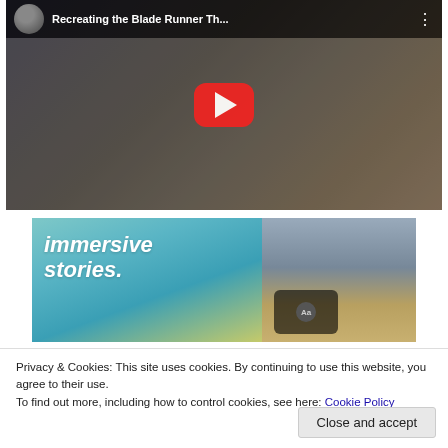[Figure (screenshot): YouTube video thumbnail showing 'Recreating the Blade Runner Th...' with a profile avatar, music sheet and keyboard background, and a red play button in the center]
[Figure (screenshot): Advertisement banner with text 'immersive stories.' on a teal/green gradient background alongside a photo of a person in a yellow jacket near a waterfall, with a phone UI overlay]
Privacy & Cookies: This site uses cookies. By continuing to use this website, you agree to their use.
To find out more, including how to control cookies, see here: Cookie Policy
Close and accept